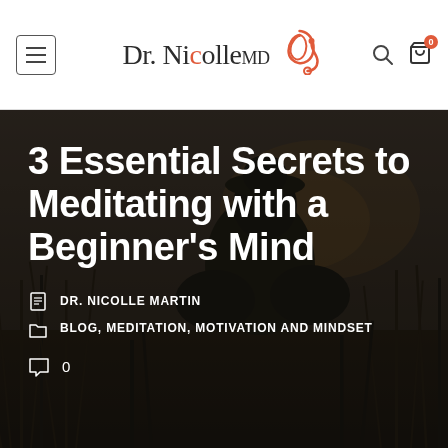Dr. Nicolle MD
3 Essential Secrets to Meditating with a Beginner's Mind
DR. NICOLLE MARTIN
BLOG, MEDITATION, MOTIVATION AND MINDSET
0